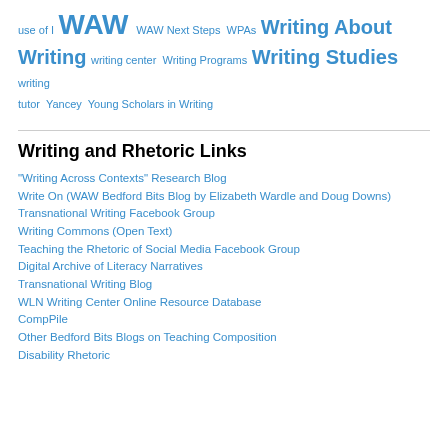use of I WAW WAW Next Steps WPAs Writing About Writing writing center Writing Programs Writing Studies writing tutor Yancey Young Scholars in Writing
Writing and Rhetoric Links
"Writing Across Contexts" Research Blog
Write On (WAW Bedford Bits Blog by Elizabeth Wardle and Doug Downs)
Transnational Writing Facebook Group
Writing Commons (Open Text)
Teaching the Rhetoric of Social Media Facebook Group
Digital Archive of Literacy Narratives
Transnational Writing Blog
WLN Writing Center Online Resource Database
CompPile
Other Bedford Bits Blogs on Teaching Composition
Disability Rhetoric